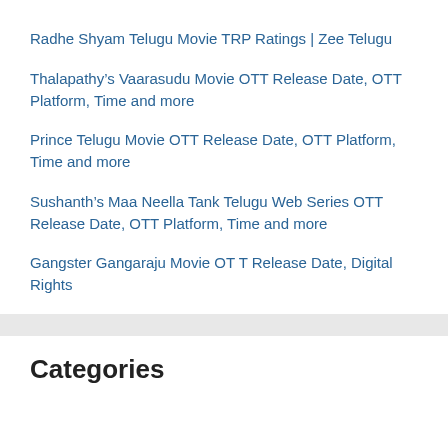Radhe Shyam Telugu Movie TRP Ratings | Zee Telugu
Thalapathy’s Vaarasudu Movie OTT Release Date, OTT Platform, Time and more
Prince Telugu Movie OTT Release Date, OTT Platform, Time and more
Sushanth’s Maa Neella Tank Telugu Web Series OTT Release Date, OTT Platform, Time and more
Gangster Gangaraju Movie OT T Release Date, Digital Rights
Categories